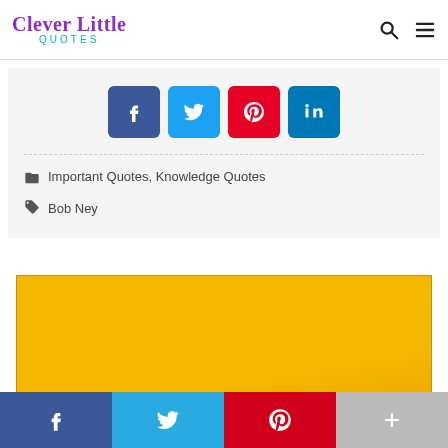Clever Little QUOTES
[Figure (infographic): Social share buttons: Facebook (dark blue), Twitter (light blue), Pinterest (red), LinkedIn (teal/blue)]
Important Quotes, Knowledge Quotes
Bob Ney
[Figure (photo): Yellow/orange background with large faint text reading CHALLENGE]
[Figure (infographic): Bottom sticky social share bar: Facebook (dark blue), Twitter (sky blue), Pinterest (red), More/Plus (gray)]